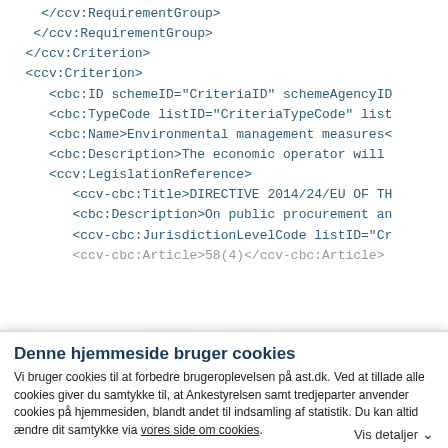</ccv:RequirementGroup>
    </ccv:RequirementGroup>
</ccv:Criterion>
<ccv:Criterion>
    <cbc:ID schemeID="CriteriaID" schemeAgencyID
    <cbc:TypeCode listID="CriteriaTypeCode" list
    <cbc:Name>Environmental management measures<
    <cbc:Description>The economic operator will
    <ccv:LegislationReference>
        <ccv-cbc:Title>DIRECTIVE 2014/24/EU OF TH
        <cbc:Description>On public procurement an
        <ccv-cbc:JurisdictionLevelCode listID="Cr
        <ccv-cbc:Article>58(4)</ccv-cbc:Article>
Denne hjemmeside bruger cookies
Vi bruger cookies til at forbedre brugeroplevelsen på ast.dk. Ved at tillade alle cookies giver du samtykke til, at Ankestyrelsen samt tredjeparter anvender cookies på hjemmesiden, blandt andet til indsamling af statistik. Du kan altid ændre dit samtykke via vores side om cookies.
Brug kun nødvendige cookies
Tillad alle cookies
Vis detaljer